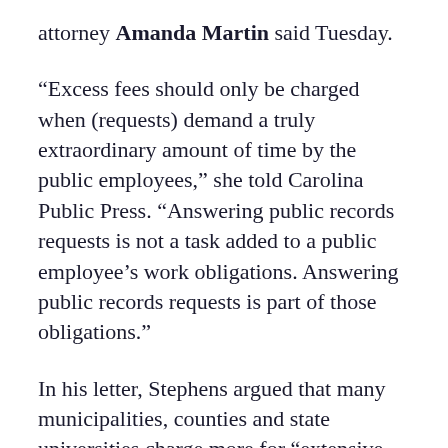attorney Amanda Martin said Tuesday.
“Excess fees should only be charged when (requests) demand a truly extraordinary amount of time by the public employees,” she told Carolina Public Press. “Answering public records requests is not a task added to a public employee’s work obligations. Answering public records requests is part of those obligations.”
In his letter, Stephens argued that many municipalities, counties and state universities charge more for “extensive requests.”